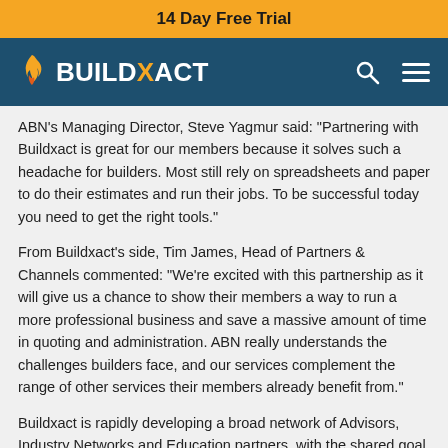14 Day Free Trial
[Figure (logo): Buildxact logo with flame icon on dark teal navigation bar with search and hamburger menu icons]
ABN's Managing Director, Steve Yagmur said: "Partnering with Buildxact is great for our members because it solves such a headache for builders. Most still rely on spreadsheets and paper to do their estimates and run their jobs. To be successful today you need to get the right tools."
From Buildxact's side, Tim James, Head of Partners & Channels commented: "We're excited with this partnership as it will give us a chance to show their members a way to run a more professional business and save a massive amount of time in quoting and administration. ABN really understands the challenges builders face, and our services complement the range of other services their members already benefit from."
Buildxact is rapidly developing a broad network of Advisors, Industry Networks and Education partners, with the shared goal to take the residential construction market forward.